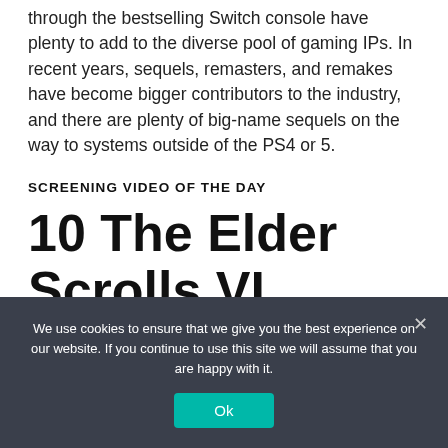through the bestselling Switch console have plenty to add to the diverse pool of gaming IPs. In recent years, sequels, remasters, and remakes have become bigger contributors to the industry, and there are plenty of big-name sequels on the way to systems outside of the PS4 or 5.
SCREENING VIDEO OF THE DAY
10 The Elder Scrolls VI
We use cookies to ensure that we give you the best experience on our website. If you continue to use this site we will assume that you are happy with it.